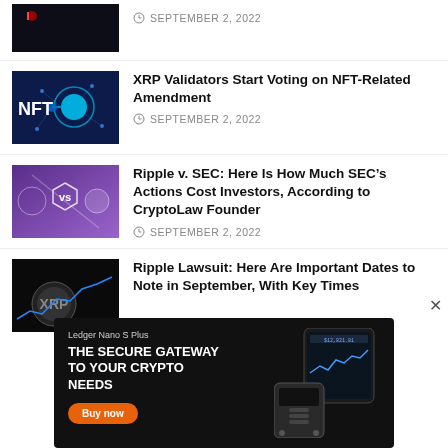[Figure (photo): Dark night scene photo (partial, top cropped)]
SEPTEMBER 2, 2022
[Figure (photo): NFT digital art with glowing blue network sphere on dark blue background with NFT text]
XRP Validators Start Voting on NFT-Related Amendment
SEPTEMBER 2, 2022
[Figure (photo): Ripple vs SEC graphic with purple gradient background and vs hexagon badge]
Ripple v. SEC: Here Is How Much SEC’s Actions Cost Investors, According to CryptoLaw Founder
SEPTEMBER 2, 2022
[Figure (photo): XRP coin on dark background with blue trend line]
Ripple Lawsuit: Here Are Important Dates to Note in September, With Key Times
[Figure (screenshot): Ledger Nano S Plus advertisement banner: THE SECURE GATEWAY TO YOUR CRYPTO NEEDS, Buy now button, device image]